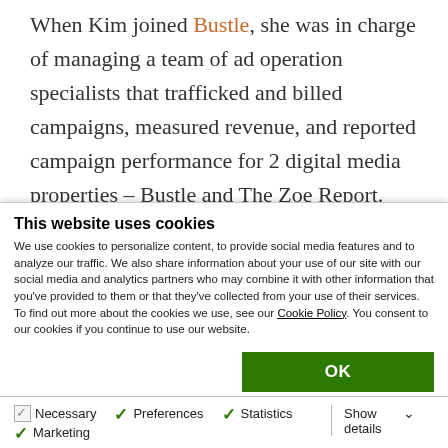When Kim joined Bustle, she was in charge of managing a team of ad operation specialists that trafficked and billed campaigns, measured revenue, and reported campaign performance for 2 digital media properties – Bustle and The Zoe Report. After a couple of months, the company grew and launched
This website uses cookies
We use cookies to personalize content, to provide social media features and to analyze our traffic. We also share information about your use of our site with our social media and analytics partners who may combine it with other information that you've provided to them or that they've collected from your use of their services. To find out more about the cookies we use, see our Cookie Policy. You consent to our cookies if you continue to use our website.
OK
Necessary  Preferences  Statistics  Marketing  Show details